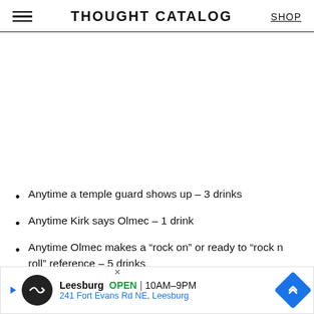THOUGHT CATALOG
Anytime a temple guard shows up – 3 drinks
Anytime Kirk says Olmec – 1 drink
Anytime Olmec makes a “rock on” or ready to “rock n roll” reference – 5 drinks
Choo... is men... am (partially obscured by ad overlay)